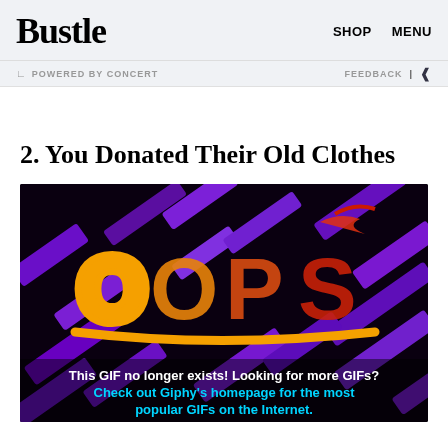Bustle  SHOP  MENU
POWERED BY CONCERT  FEEDBACK
2. You Donated Their Old Clothes
[Figure (illustration): Dark background with purple geometric shapes and the word OOPS in colorful fire-like lettering. Text overlay reads: This GIF no longer exists! Looking for more GIFs? Check out Giphy's homepage for the most popular GIFs on the Internet.]